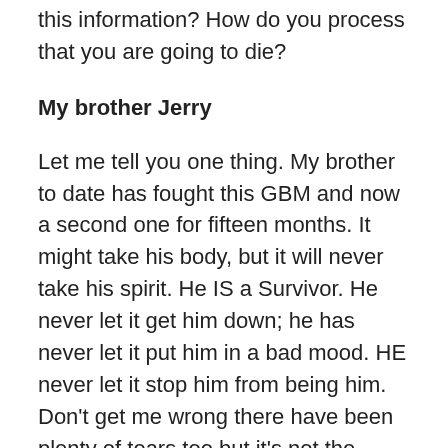this information?  How do you process that you are going to die?
My brother Jerry
Let me tell you one thing. My brother to date has fought this GBM and now a second one for fifteen months.  It might take his body, but it will never take his spirit.  He IS a Survivor.  He never let it get him down; he has never let it put him in a bad mood.  HE never let it stop him from being him.  Don’t get me wrong there have been plenty of tears too but it’s not the cancer, it’s that he will not be here.  He will always